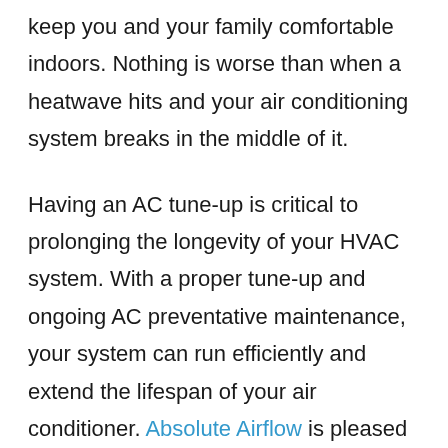keep you and your family comfortable indoors. Nothing is worse than when a heatwave hits and your air conditioning system breaks in the middle of it.
Having an AC tune-up is critical to prolonging the longevity of your HVAC system. With a proper tune-up and ongoing AC preventative maintenance, your system can run efficiently and extend the lifespan of your air conditioner. Absolute Airflow is pleased to fulfill your AC tune-up services and make it reliable for years to come.